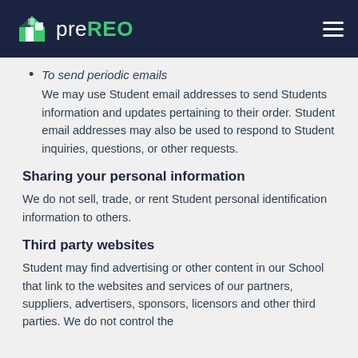preREO
To send periodic emails
We may use Student email addresses to send Students information and updates pertaining to their order. Student email addresses may also be used to respond to Student inquiries, questions, or other requests.
Sharing your personal information
We do not sell, trade, or rent Student personal identification information to others.
Third party websites
Student may find advertising or other content in our School that link to the websites and services of our partners, suppliers, advertisers, sponsors, licensors and other third parties. We do not control the